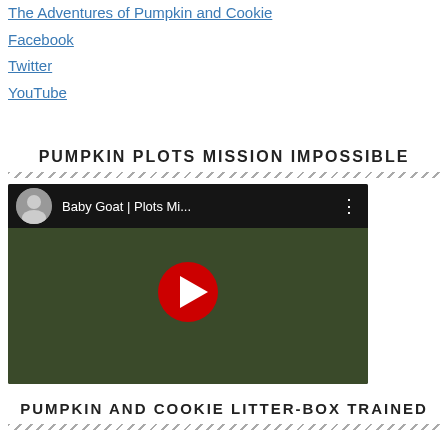The Adventures of Pumpkin and Cookie
Facebook
Twitter
YouTube
PUMPKIN PLOTS MISSION IMPOSSIBLE
[Figure (screenshot): YouTube video thumbnail showing 'Baby Goat | Plots Mi...' with a red play button in the center and a channel avatar in the top-left corner]
PUMPKIN AND COOKIE LITTER-BOX TRAINED